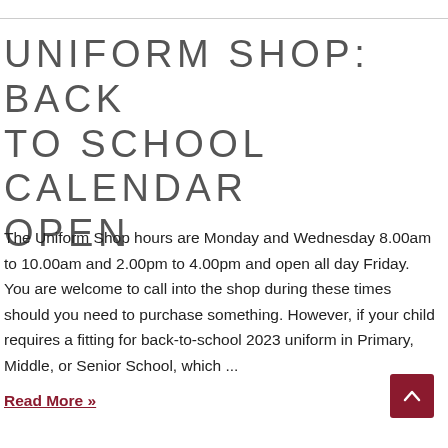UNIFORM SHOP: BACK TO SCHOOL CALENDAR OPEN
The Uniform Shop hours are Monday and Wednesday 8.00am to 10.00am and 2.00pm to 4.00pm and open all day Friday. You are welcome to call into the shop during these times should you need to purchase something. However, if your child requires a fitting for back-to-school 2023 uniform in Primary, Middle, or Senior School, which ...
Read More »